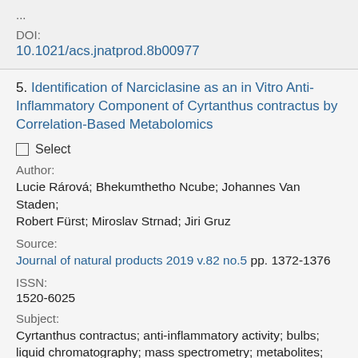...
DOI:
10.1021/acs.jnatprod.8b00977
5. Identification of Narciclasine as an in Vitro Anti-Inflammatory Component of Cyrtanthus contractus by Correlation-Based Metabolomics
Select
Author:
Lucie Rárová; Bhekumthetho Ncube; Johannes Van Staden; Robert Fürst; Miroslav Strnad; Jiri Gruz
Source:
Journal of natural products 2019 v.82 no.5 pp. 1372-1376
ISSN:
1520-6025
Subject:
Cyrtanthus contractus; anti-inflammatory activity; bulbs; liquid chromatography; mass spectrometry; metabolites;